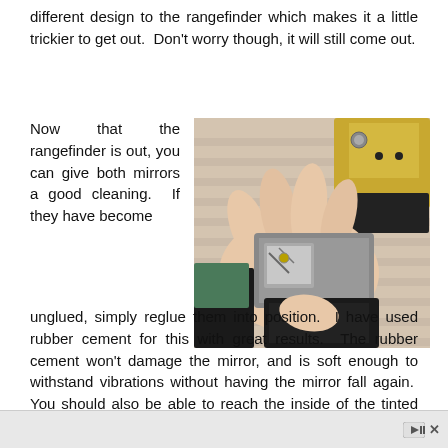different design to the rangefinder which makes it a little trickier to get out. Don't worry though, it will still come out.
Now that the rangefinder is out, you can give both mirrors a good cleaning. If they have become
[Figure (photo): A hand holding a disassembled rangefinder mirror assembly showing the inner mechanisms, with camera parts visible in the background on a striped surface.]
unglued, simply reglue them into position. I have used rubber cement for this with great results. The rubber cement won't damage the mirror, and is soft enough to withstand vibrations without having the mirror fall again. You should also be able to reach the inside of the tinted rangefinder window on the front plate of the camera to give it a good cleaning.